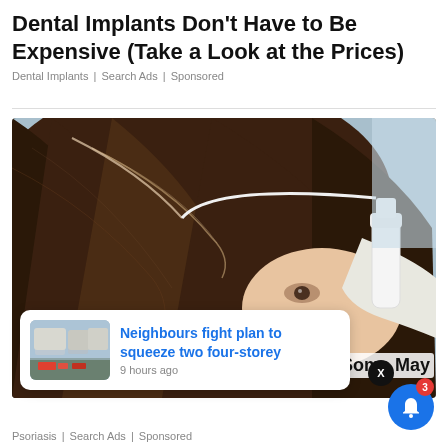Dental Implants Don't Have to Be Expensive (Take a Look at the Prices)
Dental Implants | Search Ads | Sponsored
[Figure (photo): Close-up photo of a woman receiving a hair/scalp treatment with a white applicator bottle, applied by a gloved hand. Brown hair visible with part line.]
Neighbours fight plan to squeeze two four-storey
9 hours ago
(Some May
Psoriasis | Search Ads | Sponsored